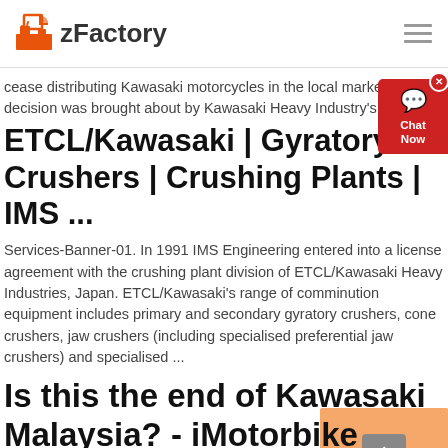zFactory
cease distributing Kawasaki motorcycles in the local market. This decision was brought about by Kawasaki Heavy Industry's (KHI ...
ETCL/Kawasaki | Gyratory Crushers | Crushing Plants | IMS ...
Services-Banner-01. In 1991 IMS Engineering entered into a license agreement with the crushing plant division of ETCL/Kawasaki Heavy Industries, Japan. ETCL/Kawasaki's range of comminution equipment includes primary and secondary gyratory crushers, cone crushers, jaw crushers (including specialised preferential jaw crushers) and specialised ...
Is this the end of Kawasaki Malaysia? - iMotorbike News